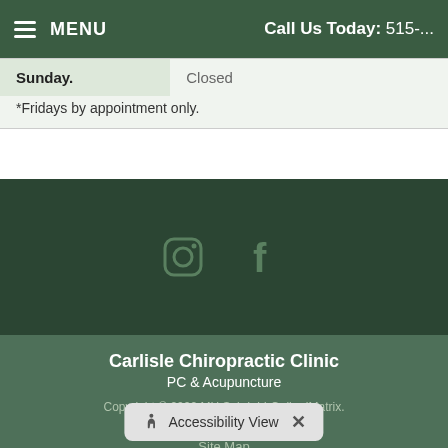MENU | Call Us Today: 515-...
| Sunday. | Closed |
[Figure (other): Social media icons: Instagram and Facebook, displayed on dark green background]
Carlisle Chiropractic Clinic
PC & Acupuncture
Copyright © 2022 MH Sub I, LLC dba iMatrix.
Admin Log In
Site Map
Accessibility View